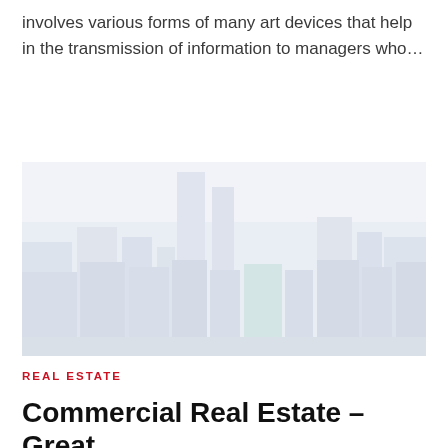involves various forms of many art devices that help in the transmission of information to managers who...
READ MORE
[Figure (photo): Faded/washed-out cityscape photograph showing tall commercial skyscrapers and office buildings against a light sky, rendered in very pale blue-grey tones.]
REAL ESTATE
Commercial Real Estate – Great Advantages